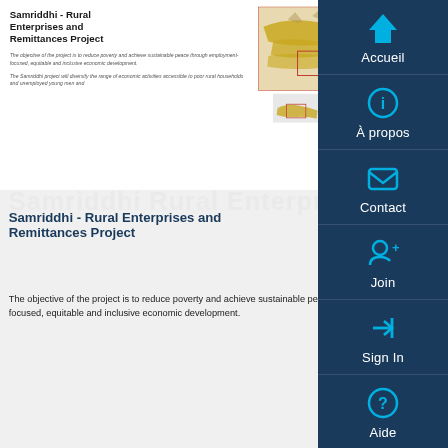Samriddhi - Rural Enterprises and Remittances Project
The objective of the project is to reduce poverty and achieve sustainable peace through employment-focused, equitable and inclusive economic development.
The Samriddhi project will diversify the range of economic activities accessible to poor rural households and unemployed young men and
[Figure (map): Map of Nepal highlighting the Samriddhi project area in yellow/gold, with red border box indicating a zoomed region. Legend shows 'Project area' in yellow.]
Samriddhi - Rural Enterprises and Remittances Project
The objective of the project is to reduce poverty and achieve sustainable peace through employment-focused, equitable and inclusive economic development.
[Figure (screenshot): Screenshot of project website showing navigation bar with options: ABOUT US, WORKING AREA, WHAT WE DO, HOW WE WORK, KNOWLEDGE BANK, MEDIA, CONTACT US on a dark red background. Below is an image and text 'Helping onwards make informed choices'.]
Accueil
À propos
Contact
Join
Sign In
Aide